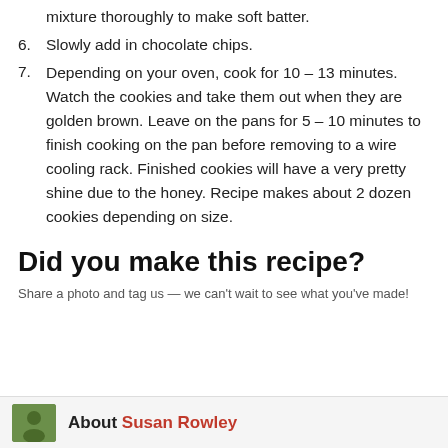mixture thoroughly to make soft batter.
6. Slowly add in chocolate chips.
7. Depending on your oven, cook for 10 – 13 minutes. Watch the cookies and take them out when they are golden brown. Leave on the pans for 5 – 10 minutes to finish cooking on the pan before removing to a wire cooling rack. Finished cookies will have a very pretty shine due to the honey. Recipe makes about 2 dozen cookies depending on size.
Did you make this recipe?
Share a photo and tag us — we can't wait to see what you've made!
About Susan Rowley